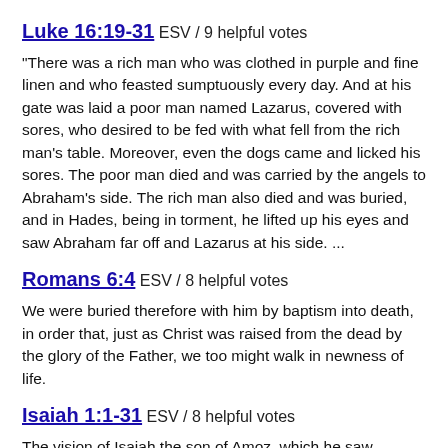Luke 16:19-31 ESV / 9 helpful votes
“There was a rich man who was clothed in purple and fine linen and who feasted sumptuously every day. And at his gate was laid a poor man named Lazarus, covered with sores, who desired to be fed with what fell from the rich man’s table. Moreover, even the dogs came and licked his sores. The poor man died and was carried by the angels to Abraham’s side. The rich man also died and was buried, and in Hades, being in torment, he lifted up his eyes and saw Abraham far off and Lazarus at his side. ...
Romans 6:4 ESV / 8 helpful votes
We were buried therefore with him by baptism into death, in order that, just as Christ was raised from the dead by the glory of the Father, we too might walk in newness of life.
Isaiah 1:1-31 ESV / 8 helpful votes
The vision of Isaiah the son of Amoz, which he saw concerning Judah and Jerusalem in the days of Uzziah, Jotham, Ahaz, and Hezekiah, kings of Judah. Hear, O ...